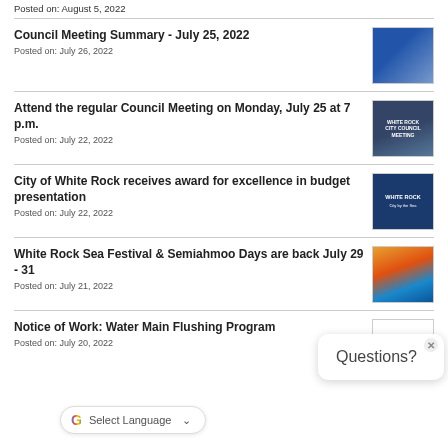Posted on: August 5, 2022
Council Meeting Summary - July 25, 2022
Posted on: July 26, 2022
[Figure (photo): City council meeting photo with blue tones]
Attend the regular Council Meeting on Monday, July 25 at 7 p.m.
Posted on: July 22, 2022
[Figure (photo): City Council Meeting promotional image]
City of White Rock receives award for excellence in budget presentation
Posted on: July 22, 2022
[Figure (photo): White Rock city logo on blue background]
White Rock Sea Festival & Semiahmoo Days are back July 29 - 31
Posted on: July 21, 2022
[Figure (photo): Sea Festival colorful graphic]
Notice of Work: Water Main Flushing Program
Posted on: July 20, 2022
[Figure (logo): White Rock City by the Sea logo]